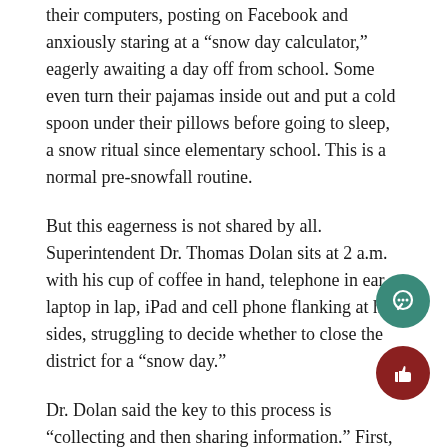their computers, posting on Facebook and anxiously staring at a “snow day calculator,” eagerly awaiting a day off from school. Some even turn their pajamas inside out and put a cold spoon under their pillows before going to sleep, a snow ritual since elementary school. This is a normal pre-snowfall routine.
But this eagerness is not shared by all. Superintendent Dr. Thomas Dolan sits at 2 a.m. with his cup of coffee in hand, telephone in ear, laptop in lap, iPad and cell phone flanking at his sides, struggling to decide whether to close the district for a “snow day.”
Dr. Dolan said the key to this process is “collecting and then sharing information.” First, Dr. Dolan gets a forecast specific to Great Neck from Accuweather, a national weather service the district subscribes to. Subsequently, Mr. James Popkins, director of transportation, updates him on road conditions after driving them at approximately three in